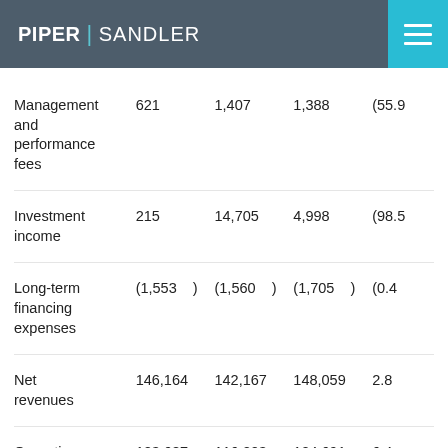PIPER | SANDLER
|  |  |  |  |  |
| --- | --- | --- | --- | --- |
| Management and performance fees | 621 | 1,407 | 1,388 | (55.9 |
| Investment income | 215 | 14,705 | 4,998 | (98.5 |
| Long-term financing expenses | (1,553   ) | (1,560   ) | (1,705   ) | (0.4 |
| Net revenues | 146,164 | 142,167 | 148,059 | 2.8 |
| Operating expenses | 123,687 | 116,203 | 124,691 | 6.4 |